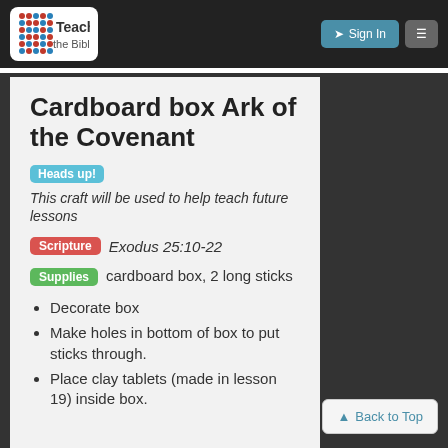[Figure (logo): Teach the Bible logo with colorful dot grid pattern and navigation buttons (Sign In, hamburger menu) on dark header bar]
Cardboard box Ark of the Covenant
Heads up! This craft will be used to help teach future lessons
Scripture Exodus 25:10-22
Supplies cardboard box, 2 long sticks
Decorate box
Make holes in bottom of box to put sticks through.
Place clay tablets (made in lesson 19) inside box.